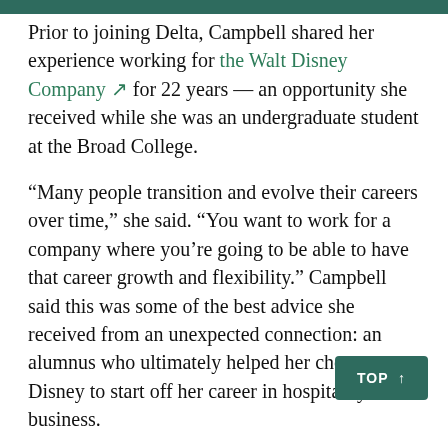Prior to joining Delta, Campbell shared her experience working for the Walt Disney Company for 22 years — an opportunity she received while she was an undergraduate student at the Broad College.
“Many people transition and evolve their careers over time,” she said. “You want to work for a company where you’re going to be able to have that career growth and flexibility.” Campbell said this was some of the best advice she received from an unexpected connection: an alumnus who ultimately helped her choose Disney to start off her career in hospitality business.
Outside of her consumer insight career, Campbell